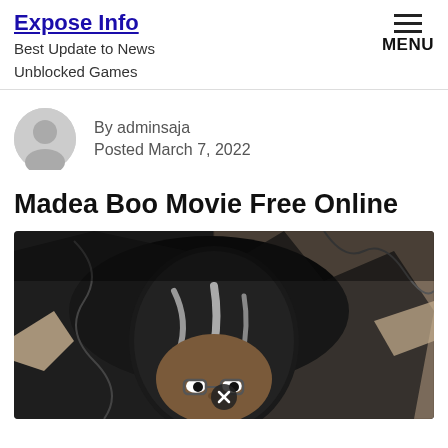Expose Info
Best Update to News Unblocked Games
MENU
By adminsaja
Posted March 7, 2022
Madea Boo Movie Free Online
[Figure (photo): Black and white promotional movie image showing a character peering through a torn hole in a wall, wearing glasses and a wig, with a close button overlay at the bottom center.]